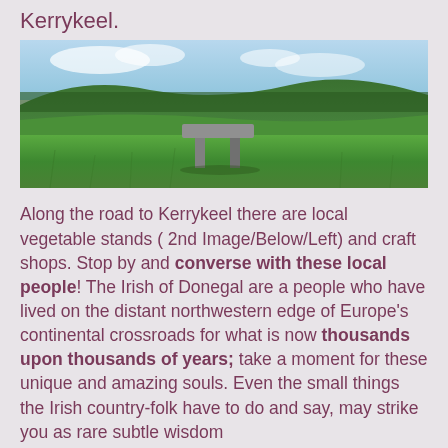Kerrykeel.
[Figure (photo): A dolmen (ancient stone monument) in a green grassy field with hills and trees in the background under a cloudy sky, near Kerrykeel.]
Along the road to Kerrykeel there are local vegetable stands ( 2nd Image/Below/Left) and craft shops. Stop by and converse with these local people! The Irish of Donegal are a people who have lived on the distant northwestern edge of Europe's continental crossroads for what is now thousands upon thousands of years; take a moment for these unique and amazing souls. Even the small things the Irish country-folk have to do and say, may strike you as rare subtle wisdom